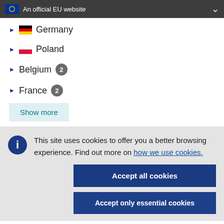An official EU website
Germany
Poland
Belgium 2
France 2
Show more
This site uses cookies to offer you a better browsing experience. Find out more on how we use cookies.
Accept all cookies
Accept only essential cookies